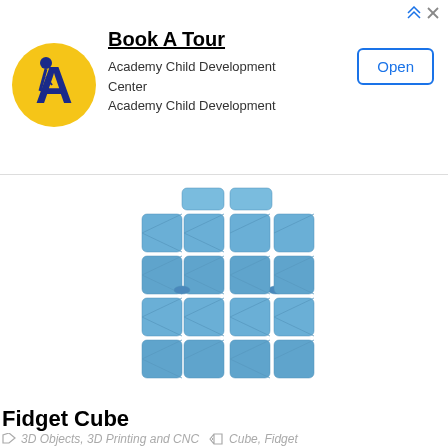[Figure (screenshot): Advertisement banner: Academy Child Development Center. Shows logo (yellow circle with blue figure and letter A), title 'Book A Tour', subtitle 'Academy Child Development Center / Academy Child Development', and an 'Open' button. Arrow/triangle ad icons in top right.]
[Figure (photo): 3D rendered image of a Fidget Cube showing blue-colored 3D printed cube pieces arranged symmetrically.]
Fidget Cube
3D Objects, 3D Printing and CNC   Cube, Fidget
[Figure (photo): Bottom portion of page showing a QR code and a partially visible 3D model of a diamond/pyramid shaped object with engraving, rendered in blue.]